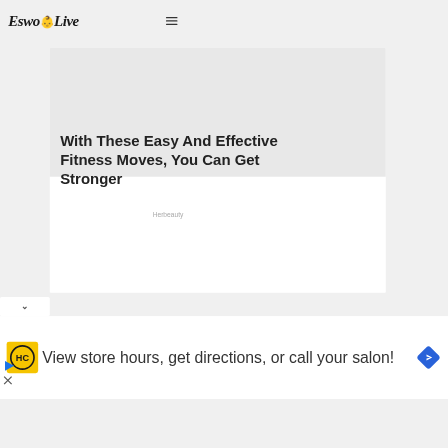EswoLive
[Figure (other): White content card with article image area (blank/grey) at top]
With These Easy And Effective Fitness Moves, You Can Get Stronger
Herbeauty
[Figure (infographic): Advertisement banner: HC salon logo (yellow background, black HC circle text), text 'View store hours, get directions, or call your salon!', blue diamond arrow icon on right]